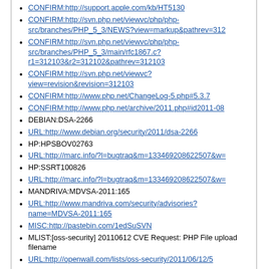CONFIRM:http://support.apple.com/kb/HT5130
CONFIRM:http://svn.php.net/viewvc/php/php-src/branches/PHP_5_3/NEWS?view=markup&pathrev=312
CONFIRM:http://svn.php.net/viewvc/php/php-src/branches/PHP_5_3/main/rfc1867.c?r1=312103&r2=312102&pathrev=312103
CONFIRM:http://svn.php.net/viewvc?view=revision&revision=312103
CONFIRM:http://www.php.net/ChangeLog-5.php#5.3.7
CONFIRM:http://www.php.net/archive/2011.php#id2011-08
DEBIAN:DSA-2266
URL:http://www.debian.org/security/2011/dsa-2266
HP:HPSBOV02763
URL:http://marc.info/?l=bugtraq&m=133469208622507&w=
HP:SSRT100826
URL:http://marc.info/?l=bugtraq&m=133469208622507&w=
MANDRIVA:MDVSA-2011:165
URL:http://www.mandriva.com/security/advisories?name=MDVSA-2011:165
MISC:http://pastebin.com/1edSuSVN
MLIST:[oss-security] 20110612 CVE Request: PHP File upload filename
URL:http://openwall.com/lists/oss-security/2011/06/12/5